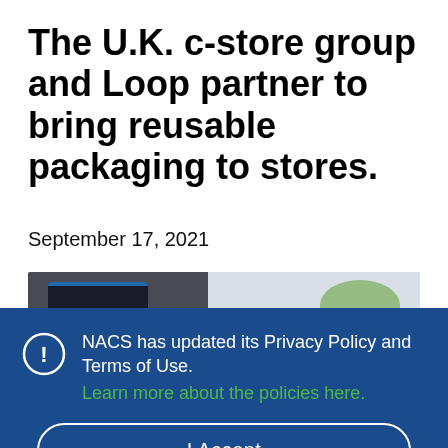The U.K. c-store group and Loop partner to bring reusable packaging to stores.
September 17, 2021
[Figure (photo): Partial photo showing a dark reusable container/bag on the left and a green plant/outdoor scene on the right, partially obscured by the privacy policy banner.]
NACS has updated its Privacy Policy and Terms of Use. Learn more about the policies here.
I Accept